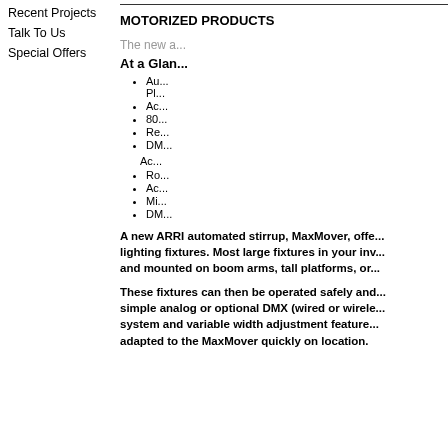Recent Projects
Talk To Us
Special Offers
MOTORIZED PRODUCTS
The new a...
At a Glan...
Au... Pl...
Ac...
80...
Re...
DM...
Ac...
Ro...
Ac...
Mi...
DM...
A new ARRI automated stirrup, MaxMover, offe... lighting fixtures. Most large fixtures in your inv... and mounted on boom arms, tall platforms, or...
These fixtures can then be operated safely and... simple analog or optional DMX (wired or wirele... system and variable width adjustment feature... adapted to the MaxMover quickly on location.